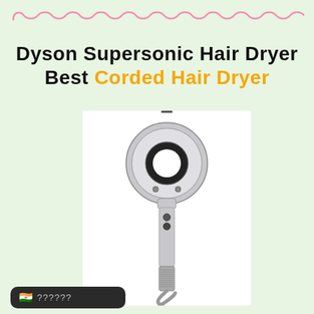[Figure (illustration): Pink curly decorative border line at top of page]
Dyson Supersonic Hair Dryer Best Corded Hair Dryer
[Figure (photo): Dyson Supersonic hair dryer product image in silver/chrome color on white background, showing circular dryer head with hole in center and long handle with buttons and textured grip]
[Figure (other): Dark badge/watermark in bottom left corner with Indian flag emoji and question marks text]